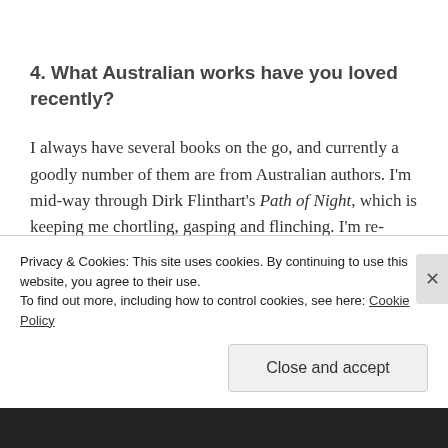4. What Australian works have you loved recently?
I always have several books on the go, and currently a goodly number of them are from Australian authors. I'm mid-way through Dirk Flinthart's Path of Night, which is keeping me chortling, gasping and flinching. I'm re-reading Kerry Greenwood's Death by Wicket which I love
Privacy & Cookies: This site uses cookies. By continuing to use this website, you agree to their use.
To find out more, including how to control cookies, see here: Cookie Policy
Close and accept